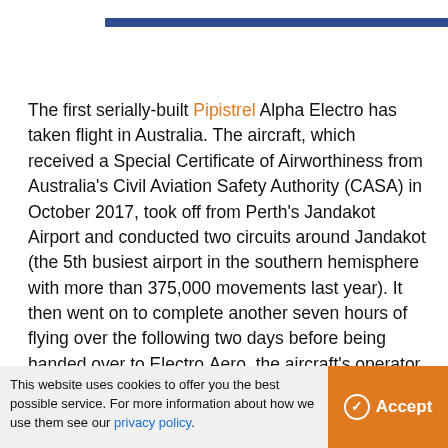The first serially-built Pipistrel Alpha Electro has taken flight in Australia. The aircraft, which received a Special Certificate of Airworthiness from Australia's Civil Aviation Safety Authority (CASA) in October 2017, took off from Perth's Jandakot Airport and conducted two circuits around Jandakot (the 5th busiest airport in the southern hemisphere with more than 375,000 movements last year). It then went on to complete another seven hours of flying over the following two days before being handed over to Electro.Aero, the aircraft's operator.
This website uses cookies to offer you the best possible service. For more information about how we use them see our privacy policy.